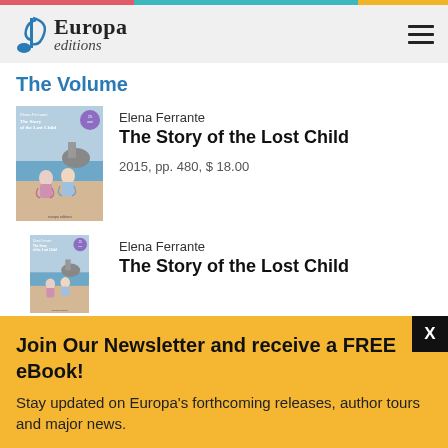Europa editions
The Volume
[Figure (illustration): Book cover of 'The Story of the Lost Child' by Elena Ferrante — shows two children sitting on a beach looking at the sea, with a rocky island in background. Purple Europa 25th anniversary badge.]
Elena Ferrante
The Story of the Lost Child
2015, pp. 480, $ 18.00
[Figure (illustration): Book cover of 'The Story of the Lost Child' by Elena Ferrante — same cover, partially visible.]
Elena Ferrante
The Story of the Lost Child
Join Our Newsletter and receive a FREE eBook!
Stay updated on Europa's forthcoming releases, author tours and major news.